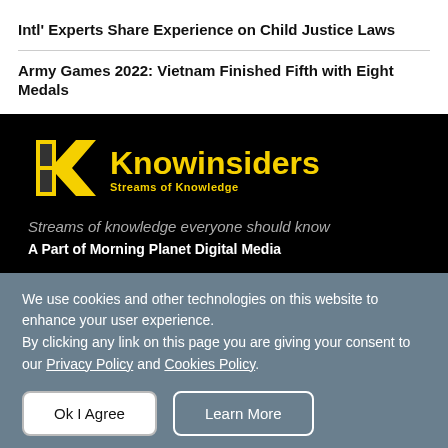Intl' Experts Share Experience on Child Justice Laws
Army Games 2022: Vietnam Finished Fifth with Eight Medals
[Figure (logo): Knowinsiders logo with yellow K icon and text 'Knowinsiders Streams of Knowledge' on black background]
Streams of knowledge everyone should know
A Part of Morning Planet Digital Media
We use cookies and other technologies on this website to enhance your user experience.
By clicking any link on this page you are giving your consent to our Privacy Policy and Cookies Policy.
Ok I Agree
Learn More